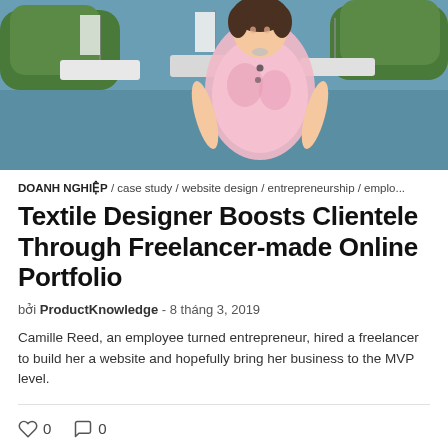[Figure (photo): Woman in pink floral sleeveless top smiling, standing in front of sailboats moored at a marina with trees in the background.]
DOANH NGHIỆP / case study / website design / entrepreneurship / emplo...
Textile Designer Boosts Clientele Through Freelancer-made Online Portfolio
bởi ProductKnowledge - 8 tháng 3, 2019
Camille Reed, an employee turned entrepreneur, hired a freelancer to build her a website and hopefully bring her business to the MVP level.
0  0